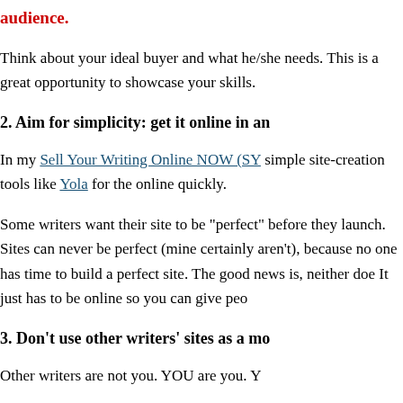audience.
Think about your ideal buyer and what he/she needs. This is a great opportunity to showcase your skills.
2. Aim for simplicity: get it online in an...
In my Sell Your Writing Online NOW (SY... simple site-creation tools like Yola for the... online quickly.
Some writers want their site to be "perfect" before they launch. Sites can never be perfect (mine certainly aren't), because no one has time to build a perfect site. The good news is, neither doe... It just has to be online so you can give peo...
3. Don't use other writers' sites as a mo...
Other writers are not you. YOU are you. Y...